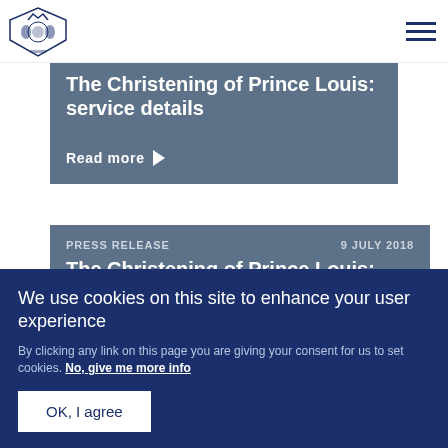[Figure (logo): Royal coat of arms / palace crest logo in dark navy blue]
The Christening of Prince Louis: service details
Read more ▶
PRESS RELEASE   9 JULY 2018
The Christening of Prince Louis:
We use cookies on this site to enhance your user experience
By clicking any link on this page you are giving your consent for us to set cookies. No, give me more info
OK, I agree